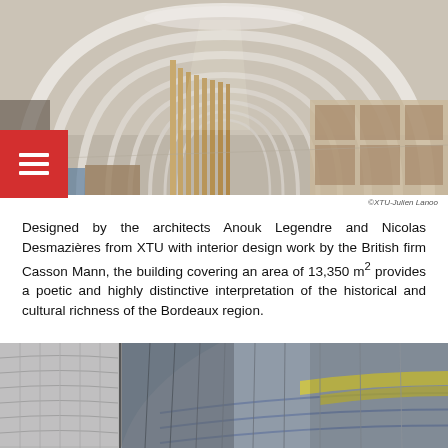[Figure (photo): Interior of a museum or exhibition space with arching white vaulted ceilings, wooden slatted display structures, and open exhibition floor with good natural lighting.]
©XTU-Julien Lanoo
Designed by the architects Anouk Legendre and Nicolas Desmazières from XTU with interior design work by the British firm Casson Mann, the building covering an area of 13,350 m² provides a poetic and highly distinctive interpretation of the historical and cultural richness of the Bordeaux region.
[Figure (photo): Close-up exterior photograph of a curved dome structure covered in slate-like tiles with metallic and yellow accent bands, showing architectural detail of the Bordeaux building.]